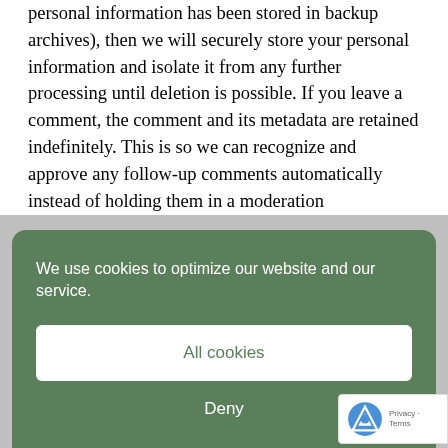personal information has been stored in backup archives), then we will securely store your personal information and isolate it from any further processing until deletion is possible. If you leave a comment, the comment and its metadata are retained indefinitely. This is so we can recognize and approve any follow-up comments automatically instead of holding them in a moderation queue.
[Figure (screenshot): Cookie consent banner with green background, 'We use cookies to optimize our website and our service.' message, 'All cookies' white button, 'Deny' text button, and 'Cookie policy' and 'Privacy Policy' underlined links.]
you can request to receive an exported file of the personal data we hold about you, including any data you have provided to us. You can also request that we erase any personal data we hold about you. This does not include any data we are obligated to keep for administrative, legal, or security purposes.